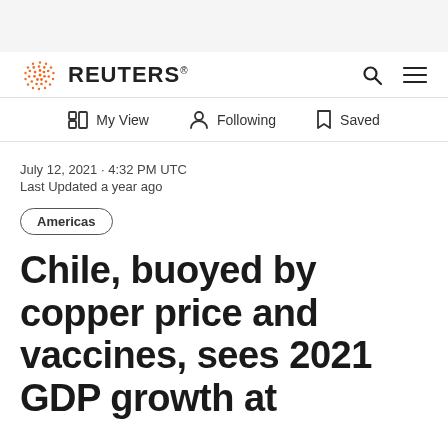REUTERS
My View  Following  Saved
July 12, 2021 · 4:32 PM UTC
Last Updated a year ago
Americas
Chile, buoyed by copper price and vaccines, sees 2021 GDP growth at